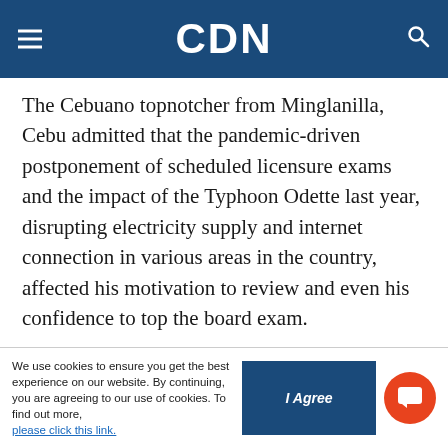CDN
The Cebuano topnotcher from Minglanilla, Cebu admitted that the pandemic-driven postponement of scheduled licensure exams and the impact of the Typhoon Odette last year, disrupting electricity supply and internet connection in various areas in the country, affected his motivation to review and even his confidence to top the board exam.
“Because I graduated last 2020, I started reviewing early year 2020 pa and then because the board exams kept on getting postponed due to the level of
We use cookies to ensure you get the best experience on our website. By continuing, you are agreeing to our use of cookies. To find out more, please click this link.